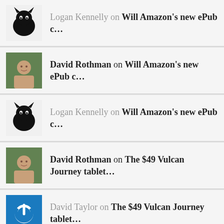Logan Kennelly on Will Amazon's new ePub c...
David Rothman on Will Amazon's new ePub c...
Logan Kennelly on Will Amazon's new ePub c...
David Rothman on The $49 Vulcan Journey tablet...
David Taylor on The $49 Vulcan Journey tablet...
Buster John on Micro-USB: A failed port waiti...